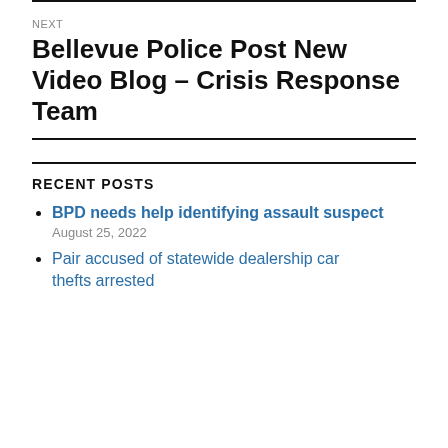NEXT
Bellevue Police Post New Video Blog – Crisis Response Team
RECENT POSTS
BPD needs help identifying assault suspect
August 25, 2022
Pair accused of statewide dealership car thefts arrested